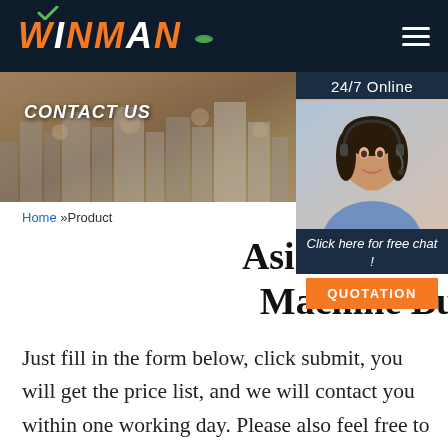[Figure (logo): WINMAN logo with orange italic text and green checkmark, on dark navy header bar]
[Figure (photo): Contact Us banner with city skyline background and CONTACT US title text]
[Figure (photo): 24/7 Online customer service widget with woman wearing headset, Click here for free chat, and QUOTATION button]
Home »Product
Asia Pu Gasket Seal Machine Business
Just fill in the form below, click submit, you will get the price list, and we will contact you within one working day. Please also feel free to contact us via email or phone. (* is required).